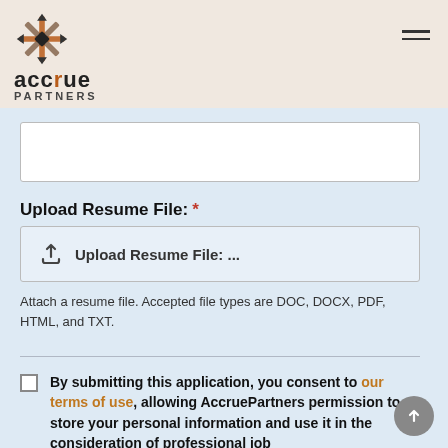[Figure (logo): Accrue Partners logo with geometric star icon and wordmark]
Upload Resume File: *
Upload Resume File: ...
Attach a resume file. Accepted file types are DOC, DOCX, PDF, HTML, and TXT.
By submitting this application, you consent to our terms of use, allowing AccruePartners permission to store your personal information and use it in the consideration of professional job